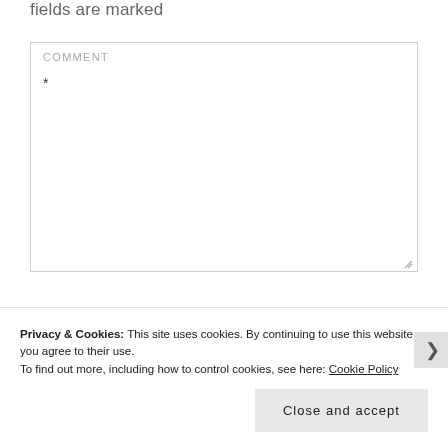fields are marked
COMMENT
*
Privacy & Cookies: This site uses cookies. By continuing to use this website, you agree to their use.
To find out more, including how to control cookies, see here: Cookie Policy
Close and accept